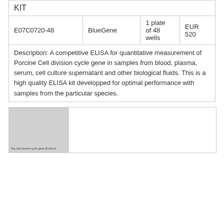|  |  |  |  |
| --- | --- | --- | --- |
| KIT |  |  |  |
| E07C0720-48 | BlueGene | 1 plate of 48 wells | EUR 520 |
Description: A competitive ELISA for quantitative measurement of Porcine Cell division cycle gene in samples from blood, plasma, serum, cell culture supernatant and other biological fluids. This is a high quality ELISA kit developped for optimal performance with samples from the particular species.
[Figure (photo): Thumbnail image of Pig Cell division cycle gene ELISA kit product]